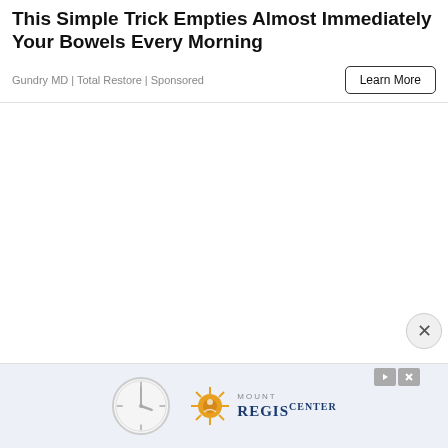This Simple Trick Empties Almost Immediately Your Bowels Every Morning
Gundry MD | Total Restore | Sponsored
Learn More
[Figure (other): Large blank white advertisement content area]
[Figure (other): Bottom banner advertisement featuring a clock icon and Mount Regis Center logo on light blue background]